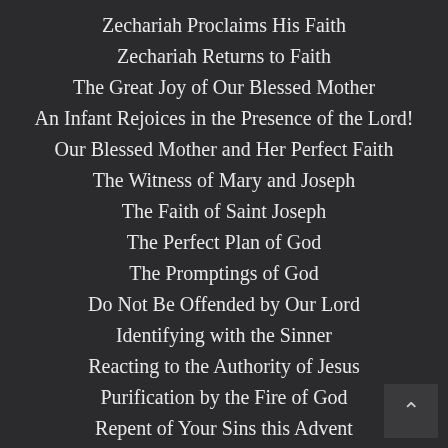Zechariah Proclaims His Faith
Zechariah Returns to Faith
The Great Joy of Our Blessed Mother
An Infant Rejoices in the Presence of the Lord!
Our Blessed Mother and Her Perfect Faith
The Witness of Mary and Joseph
The Faith of Saint Joseph
The Perfect Plan of God
The Promptings of God
Do Not Be Offended by Our Lord
Identifying with the Sinner
Reacting to the Authority of Jesus
Purification by the Fire of God
Repent of Your Sins this Advent